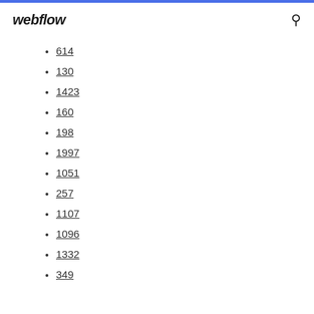webflow
614
130
1423
160
198
1997
1051
257
1107
1096
1332
349